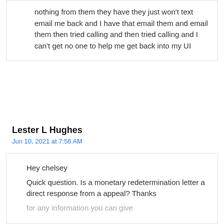nothing from them they have they just won't text email me back and I have that email them and email them then tried calling and then tried calling and I can't get no one to help me get back into my UI
Lester L Hughes
Jun 10, 2021 at 7:56 AM
Hey chelsey
Quick question. Is a monetary redetermination letter a direct response from a appeal? Thanks for any information you can give